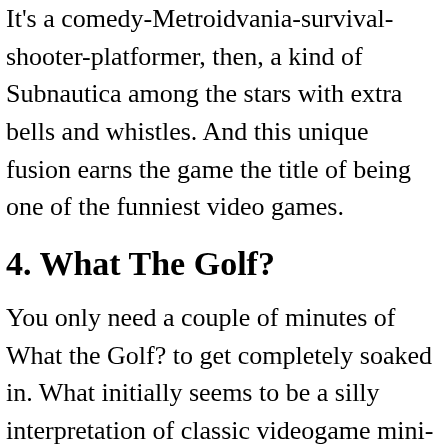It's a comedy-Metroidvania-survival-shooter-platformer, then, a kind of Subnautica among the stars with extra bells and whistles. And this unique fusion earns the game the title of being one of the funniest video games.
4. What The Golf?
You only need a couple of minutes of What the Golf? to get completely soaked in. What initially seems to be a silly interpretation of classic videogame mini-golf soon unravels into a full-blown fever dream, but it's one you'll be unwilling to wake up from.